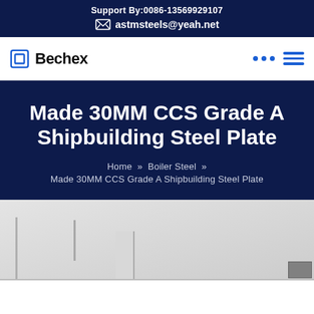Support By:0086-13569929107
astmsteels@yeah.net
[Figure (logo): Bechex company logo with square bracket icon and bold text]
Made 30MM CCS Grade A Shipbuilding Steel Plate
Home » Boiler Steel » Made 30MM CCS Grade A Shipbuilding Steel Plate
[Figure (photo): Partial view of steel plate product image at bottom of page]